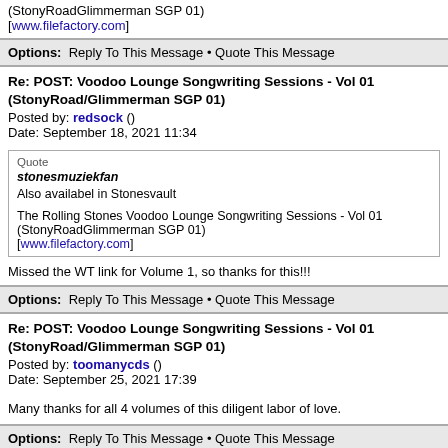(StonyRoadGlimmerman SGP 01)
[www.filefactory.com]
Options: Reply To This Message • Quote This Message
Re: POST: Voodoo Lounge Songwriting Sessions - Vol 01 (StonyRoad/Glimmerman SGP 01)
Posted by: redsock ()
Date: September 18, 2021 11:34
Quote
stonesmuziekfan
Also availabel in Stonesvault

The Rolling Stones Voodoo Lounge Songwriting Sessions - Vol 01 (StonyRoadGlimmerman SGP 01)
[www.filefactory.com]
Missed the WT link for Volume 1, so thanks for this!!!
Options: Reply To This Message • Quote This Message
Re: POST: Voodoo Lounge Songwriting Sessions - Vol 01 (StonyRoad/Glimmerman SGP 01)
Posted by: toomanycds ()
Date: September 25, 2021 17:39
Many thanks for all 4 volumes of this diligent labor of love.
Options: Reply To This Message • Quote This Message